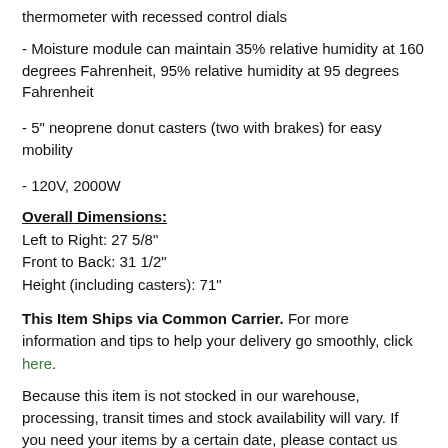thermometer with recessed control dials
- Moisture module can maintain 35% relative humidity at 160 degrees Fahrenheit, 95% relative humidity at 95 degrees Fahrenheit
- 5" neoprene donut casters (two with brakes) for easy mobility
- 120V, 2000W
Overall Dimensions:
Left to Right: 27 5/8"
Front to Back: 31 1/2"
Height (including casters): 71"
This Item Ships via Common Carrier. For more information and tips to help your delivery go smoothly, click here.
Because this item is not stocked in our warehouse, processing, transit times and stock availability will vary. If you need your items by a certain date, please contact us prior to placing your order. Expedited shipping availability may vary. We cannot guarantee that this item can be cancelled off of the order or returned once it